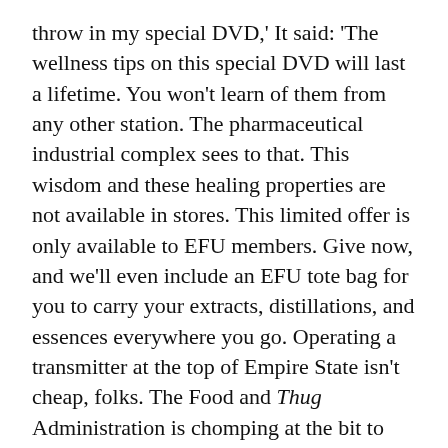throw in my special DVD,' It said: 'The wellness tips on this special DVD will last a lifetime. You won't learn of them from any other station. The pharmaceutical industrial complex sees to that. This wisdom and these healing properties are not available in stores. This limited offer is only available to EFU members. Give now, and we'll even include an EFU tote bag for you to carry your extracts, distillations, and essences everywhere you go. Operating a transmitter at the top of Empire State isn't cheap, folks. The Food and Thug Administration is chomping at the bit to silence us. We will not be silenced. I repeat, we will not be silenced!'
I called up the cemetery's front office from the